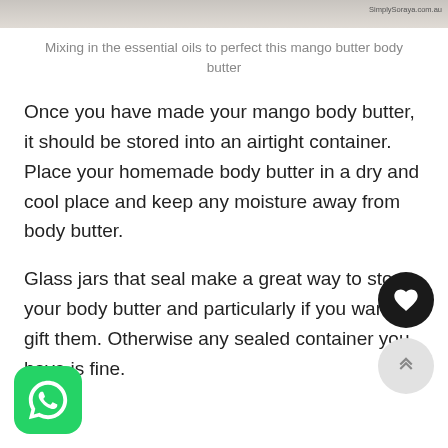[Figure (photo): Top strip of a photo showing mango butter body butter being mixed, with watermark 'SimplySoraya.com.au' in top right]
Mixing in the essential oils to perfect this mango butter body butter
Once you have made your mango body butter, it should be stored into an airtight container. Place your homemade body butter in a dry and cool place and keep any moisture away from body butter.
Glass jars that seal make a great way to store your body butter and particularly if you want to gift them. Otherwise any sealed container you have is fine.
[Figure (illustration): Black circular heart/like button (floating action button)]
[Figure (illustration): Light grey circular scroll-to-top button with double chevron up icon]
[Figure (logo): WhatsApp logo — green rounded square with white phone/speech bubble icon]